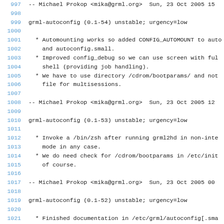Debian changelog / source code viewer showing grml-autoconfig package entries, lines 997-1023
997  -- Michael Prokop <mika@grml.org>  Sun, 23 Oct 2005 15
998
999 grml-autoconfig (0.1-54) unstable; urgency=low
1000
1001   * Automounting works so added CONFIG_AUTOMOUNT to auto
1002     and autoconfig.small.
1003   * Improved config_debug so we can use screen with full
1004     shell (providing job handling).
1005   * We have to use directory /cdrom/bootparams/ and not
1006     file for multisessions.
1007
1008  -- Michael Prokop <mika@grml.org>  Sun, 23 Oct 2005 12
1009
1010 grml-autoconfig (0.1-53) unstable; urgency=low
1011
1012   * Invoke a /bin/zsh after running grml2hd in non-inter
1013     mode in any case.
1014   * We do need check for /cdrom/bootparams in /etc/init
1015     of course.
1016
1017  -- Michael Prokop <mika@grml.org>  Sun, 23 Oct 2005 00
1018
1019 grml-autoconfig (0.1-52) unstable; urgency=low
1020
1021   * Finished documentation in /etc/grml/autoconfig[.smal
1022
1023  -- Michael Prokop <mika@grml.org>  Thu, 20 Oct 2005 11